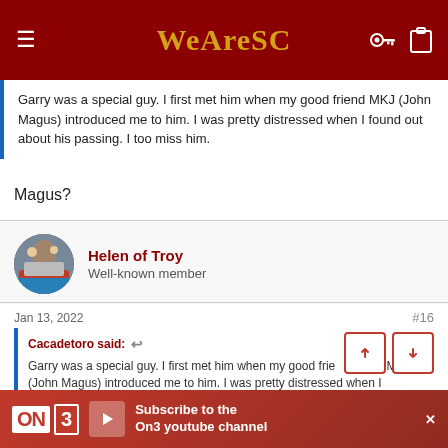WeAreSC
Garry was a special guy. I first met him when my good friend MKJ (John Magus) introduced me to him. I was pretty distressed when I found out about his passing. I too miss him.
Magus?
Helen of Troy
Well-known member
Jan 13, 2022
#16
Cacadetoro said:
Garry was a special guy. I first met him when my good friend MKJ (John Magus) introduced me to him. I was pretty distressed when I
[Figure (screenshot): Ad banner: On3 YouTube channel subscription advertisement with red background, On3 logo, play button, and subscribe text]